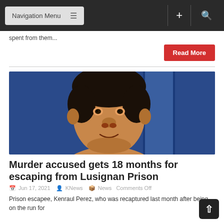Navigation Menu
spent from them...
Read More
[Figure (photo): Mugshot-style photo of a heavyset man against a blue background]
Murder accused gets 18 months for escaping from Lusignan Prison
Jun 17, 2021  KNews  News Comments Off
Prison escapee, Kenraul Perez, who was recaptured last month after being on the run for